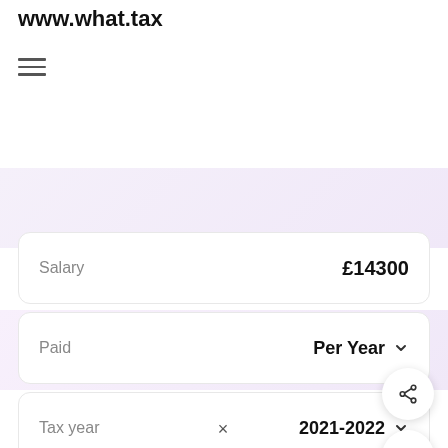www.what.tax
[Figure (other): Hamburger menu icon with three horizontal lines]
Salary £14300
Paid Per Year
Tax year 2021-2022